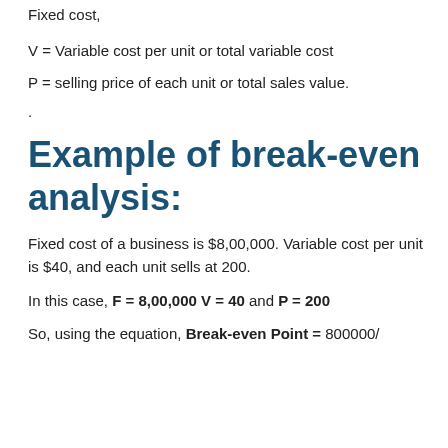Fixed cost,
V = Variable cost per unit or total variable cost
P = selling price of each unit or total sales value.
.
Example of break-even analysis:
Fixed cost of a business is $8,00,000. Variable cost per unit is $40, and each unit sells at 200.
In this case, F = 8,00,000 V = 40 and P = 200
So, using the equation, Break-even Point = 800000/